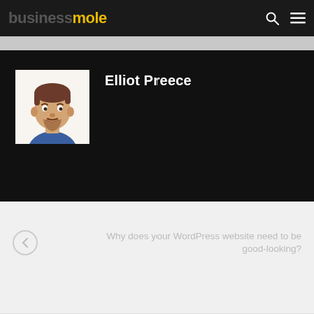businessmole
[Figure (illustration): Illustrated avatar/cartoon portrait of Elliot Preece – a young man with brown hair and beard wearing a blue shirt, white background]
Elliot Preece
Why does your WordPress website need to be good-looking?